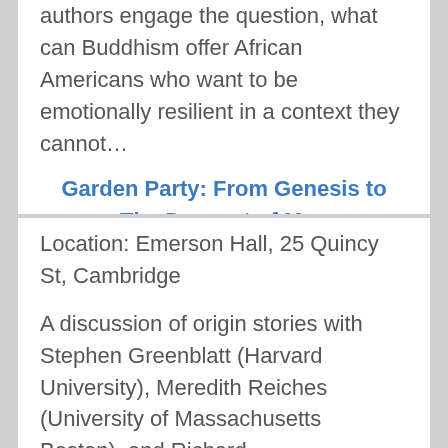authors engage the question, what can Buddhism offer African Americans who want to be emotionally resilient in a context they cannot…
Garden Party: From Genesis to The Descent of Man
Location: Emerson Hall, 25 Quincy St, Cambridge
A discussion of origin stories with Stephen Greenblatt (Harvard University), Meredith Reiches (University of Massachusetts Boston), and Richard…
Film: Earth